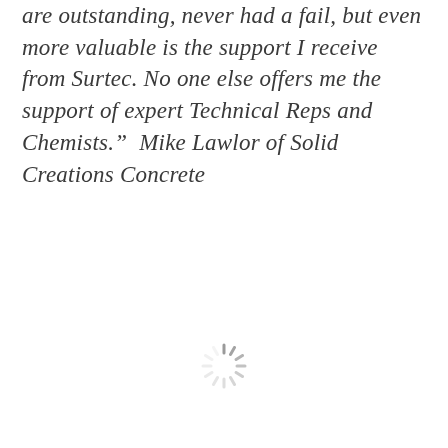are outstanding, never had a fail, but even more valuable is the support I receive from Surtec. No one else offers me the support of expert Technical Reps and Chemists.”  Mike Lawlor of Solid Creations Concrete
[Figure (other): A spinning/loading spinner icon rendered in gray, centered horizontally in the lower portion of the page.]